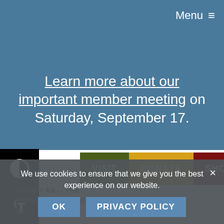Menu ≡
Learn more about our important member meeting on Saturday, September 17.
[Figure (other): Two accessibility buttons: contrast toggle (half-circle icon) and text size toggle (tT icon), both black square buttons on left side]
VISIT
DONATE
SHOP
HOME > EA... THE PRESIDENT >...ING WITH US
We use cookies to ensure that we give you the best experience on our website.
OK
PRIVACY POLICY